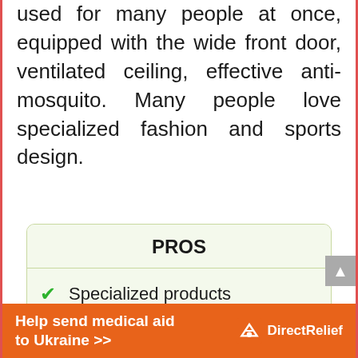used for many people at once, equipped with the wide front door, ventilated ceiling, effective anti-mosquito. Many people love specialized fashion and sports design.
PROS
Specialized products
Effective anti-mosquito material
Help send medical aid to Ukraine >> DirectRelief